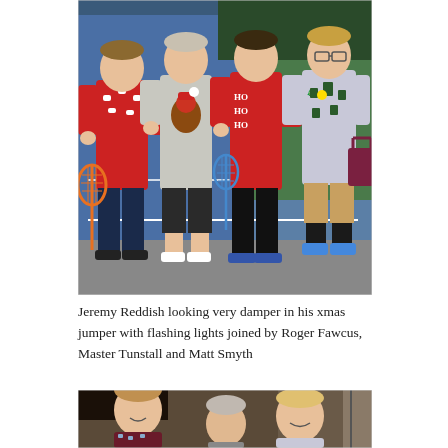[Figure (photo): Four men standing on a blue tennis court, all wearing Christmas jumpers. From left to right: one in a red jumper with white patterns holding a tennis racket, one in a grey jumper with a robin/Santa hat design, one in a red jumper reading 'HO HO HO' holding a racket, and one in a patterned Christmas jumper carrying a bag, wearing shorts.]
Jeremy Reddish looking very damper in his xmas jumper with flashing lights joined by Roger Fawcus, Master Tunstall and Matt Smyth
[Figure (photo): Three people smiling outdoors at night. Left person in dark Christmas jumper, middle person partially visible, right person wearing a red and white Santa hat and Christmas jumper.]